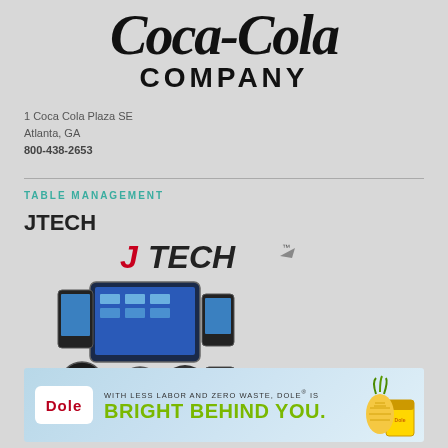[Figure (logo): Coca-Cola Company logo with script wordmark and COMPANY text beneath]
1 Coca Cola Plaza SE
Atlanta, GA
800-438-2653
TABLE MANAGEMENT
JTECH
[Figure (logo): JTECH brand logo in red and black with trademark symbol]
[Figure (photo): JTECH product lineup including tablets, handheld devices, pagers, and headsets]
[Figure (illustration): Dole advertisement banner: WITH LESS LABOR AND ZERO WASTE, DOLE® IS BRIGHT BEHIND YOU.]